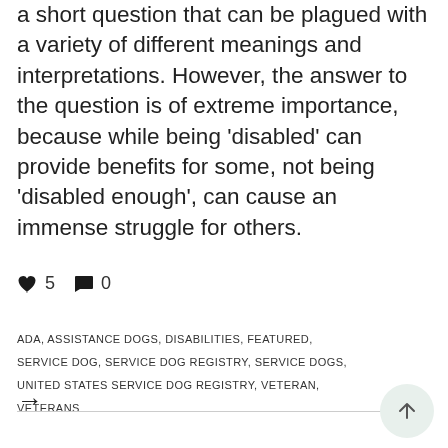a short question that can be plagued with a variety of different meanings and interpretations. However, the answer to the question is of extreme importance, because while being 'disabled' can provide benefits for some, not being 'disabled enough', can cause an immense struggle for others.
♥ 5   💬 0
ADA, ASSISTANCE DOGS, DISABILITIES, FEATURED, SERVICE DOG, SERVICE DOG REGISTRY, SERVICE DOGS, UNITED STATES SERVICE DOG REGISTRY, VETERAN, VETERANS
→